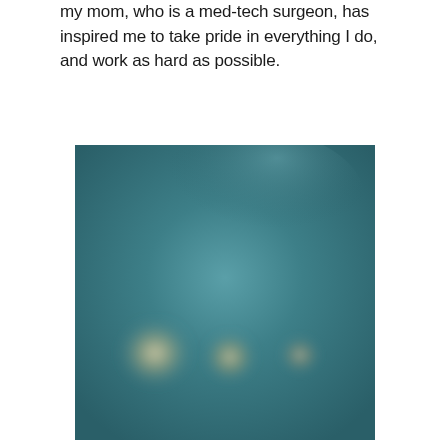my mom, who is a med-tech surgeon, has inspired me to take pride in everything I do, and work as hard as possible.
[Figure (photo): A blurry teal/green photograph showing three faint circular bright spots or colonies against a dark teal background, possibly a petri dish or scientific specimen photograph.]